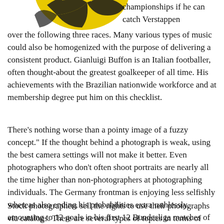[Figure (photo): Partial image of a yellow and black circular object (appears to be a soccer ball or helmet) cropped at top of page]
championships if he can catch Verstappen over the following three races. Many various types of music could also be homogenized with the purpose of delivering a consistent product. Gianluigi Buffon is an Italian footballer, often thought-about the greatest goalkeeper of all time. His achievements with the Brazilian nationwide workforce and at membership degree put him on this checklist.
There's nothing worse than a pointy image of a fuzzy concept.” If the thought behind a photograph is weak, using the best camera settings will not make it better. Even photographers who don’t often shoot portraits are nearly all the time higher than non-photographers at photographing individuals. The Germany frontman is enjoying less selfishly whereas also ending his probabilities extra ruthlessly, amounting to 12 goals in his first 12 Bundesliga matches of 2019-20.
Stock photographers sell the rights to use their photographs via catalogs. There are several types of topics in terms of Architectural Photography – it may possibly cowl tall